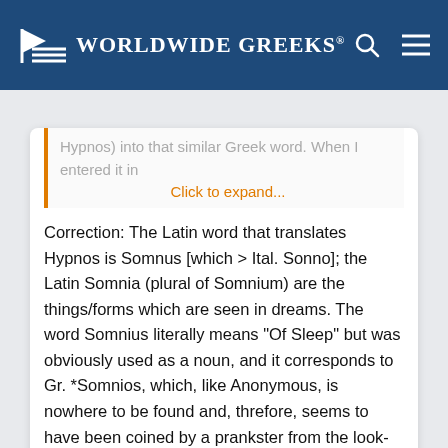Worldwide Greeks
Hypnos) into that similar Greek word. When I entered it in
Click to expand...
Correction: The Latin word that translates Hypnos is Somnus [which > Ital. Sonno]; the Latin Somnia (plural of Somnium) are the things/forms which are seen in dreams. The word Somnius literally means "Of Sleep" but was obviously used as a noun, and it corresponds to Gr. *Somnios, which, like Anonymous, is nowhere to be found and, threfore, seems to have been coined by a prankster from the look-alike Latin word.